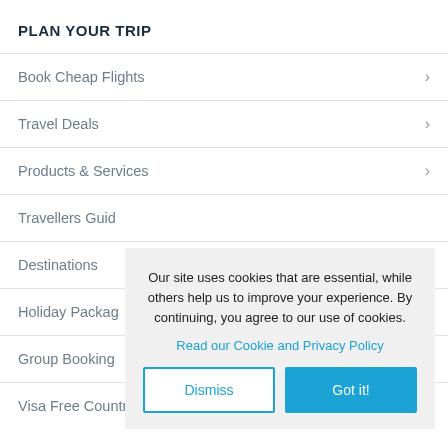PLAN YOUR TRIP
Book Cheap Flights
Travel Deals
Products & Services
Travellers Guide
Destinations
Holiday Packages
Group Bookings
Visa Free Countries
Our site uses cookies that are essential, while others help us to improve your experience. By continuing, you agree to our use of cookies.
Read our Cookie and Privacy Policy
Dismiss
Got it!